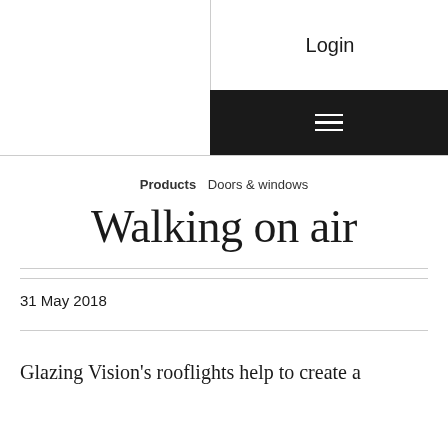Login
[Figure (other): Hamburger menu icon (three horizontal white lines on black background)]
Products  Doors & windows
Walking on air
31 May 2018
Glazing Vision's rooflights help to create a